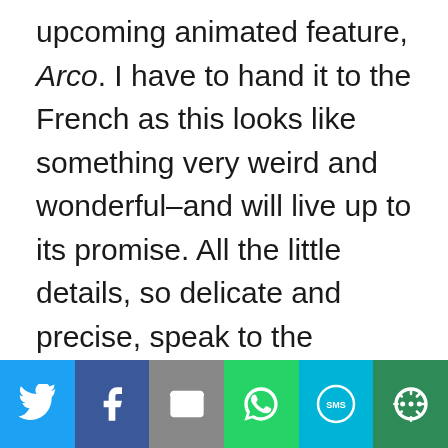upcoming animated feature, Arco. I have to hand it to the French as this looks like something very weird and wonderful–and will live up to its promise. All the little details, so delicate and precise, speak to the dedication of a true graphic novelist, which
[Figure (infographic): Social sharing toolbar with six buttons: Twitter (blue), Facebook (dark blue), Email (gray), WhatsApp (green), SMS (light blue), More/Share (dark green)]